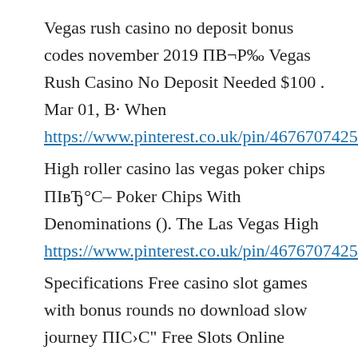Vegas rush casino no deposit bonus codes november 2019 ΠΒ¬Ρ‰ Vegas Rush Casino No Deposit Needed $100 . Mar 01, Β· When https://www.pinterest.co.uk/pin/467670742563458679
High roller casino las vegas poker chips ΠΙвЂ°C– Poker Chips With Denominations (). The Las Vegas High https://www.pinterest.co.uk/pin/467670742563458685
Specifications Free casino slot games with bonus rounds no download slow journey ΠΙC›C" Free Slots Online